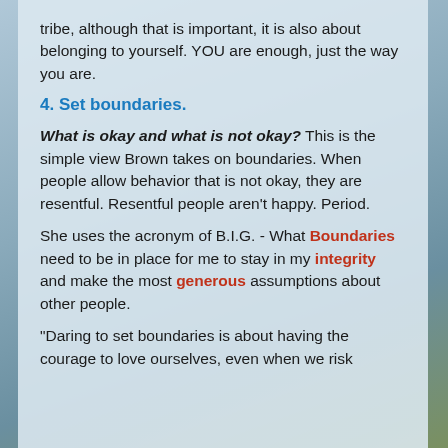tribe, although that is important, it is also about belonging to yourself. YOU are enough, just the way you are.
4. Set boundaries.
What is okay and what is not okay? This is the simple view Brown takes on boundaries. When people allow behavior that is not okay, they are resentful. Resentful people aren't happy. Period.
She uses the acronym of B.I.G. - What Boundaries need to be in place for me to stay in my integrity and make the most generous assumptions about other people.
“Daring to set boundaries is about having the courage to love ourselves, even when we risk